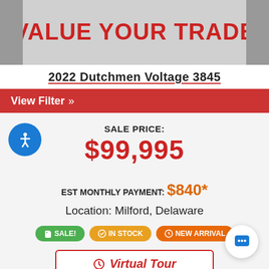VALUE YOUR TRADE
2022 Dutchmen Voltage 3845
View Filter »
SALE PRICE:
$99,995
EST MONTHLY PAYMENT: $840*
Location: Milford, Delaware
SALE!
IN STOCK
NEW ARRIVAL
Virtual Tour